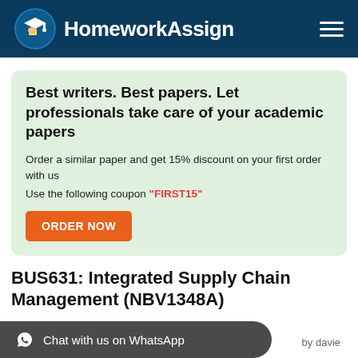HomeworkAssign
Best writers. Best papers. Let professionals take care of your academic papers
Order a similar paper and get 15% discount on your first order with us
Use the following coupon "FIRST15"
ORDER NOW
BUS631: Integrated Supply Chain Management (NBV1348A)
Chat with us on WhatsApp
by davie